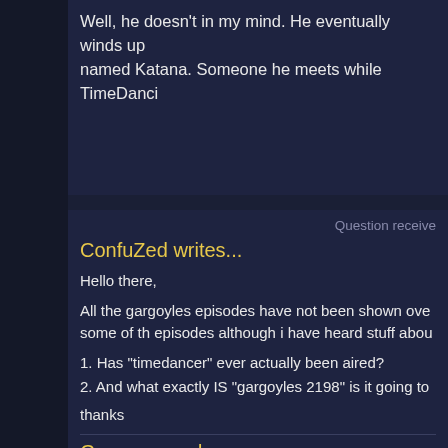Well, he doesn't in my mind. He eventually winds up named Katana. Someone he meets while TimeDanci
Question receive
ConfuZed writes...
Hello there,
All the gargoyles episodes have not been shown ove some of th episodes although i have heard stuff abou
1. Has "timedancer" ever actually been aired?
2. And what exactly IS "gargoyles 2198" is it going to
thanks
Greg responds...
1. No. It's a potential spin-off/sequel series.
2. It's a potential spin-off/sequel series.
Check out the archives and you'll be less confused.